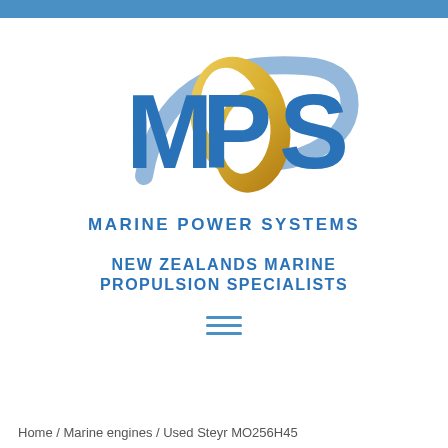[Figure (logo): MPS Marine Power Systems logo: large blue letters MPS with a gold/yellow propeller shape overlapping, and a blue swoosh arc behind]
MARINE POWER SYSTEMS
NEW ZEALANDS MARINE PROPULSION SPECIALISTS
Home / Marine engines / Used Steyr MO256H45